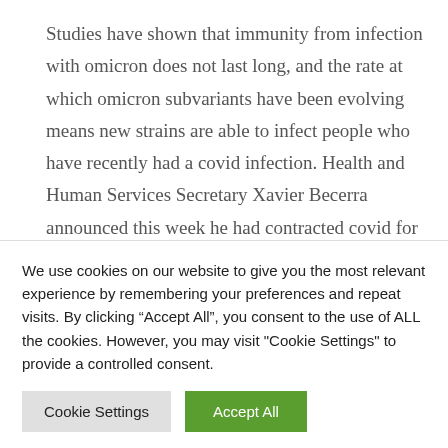Studies have shown that immunity from infection with omicron does not last long, and the rate at which omicron subvariants have been evolving means new strains are able to infect people who have recently had a covid infection. Health and Human Services Secretary Xavier Becerra announced this week he had contracted covid for the second time in less than a month.
Some parents have wondered whether babies younger than 6 months will be eligible for coronavirus vaccines at some point. Experts said some studies are underway but that the data is not
We use cookies on our website to give you the most relevant experience by remembering your preferences and repeat visits. By clicking "Accept All", you consent to the use of ALL the cookies. However, you may visit "Cookie Settings" to provide a controlled consent.